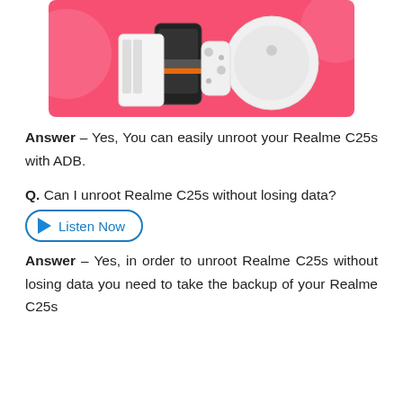[Figure (illustration): Pink banner with electronic devices: smartphone, Nintendo Switch, and robot vacuum cleaner on a pink background with decorative circular blobs.]
Answer – Yes, You can easily unroot your Realme C25s with ADB.
Q. Can I unroot Realme C25s without losing data?
[Figure (other): Listen Now button with play triangle icon, oval border in blue.]
Answer – Yes, in order to unroot Realme C25s without losing data you need to take the backup of your Realme C25s